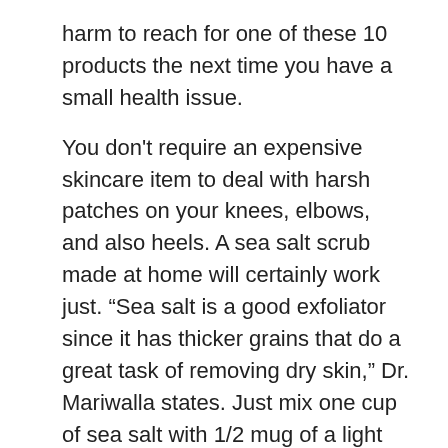harm to reach for one of these 10 products the next time you have a small health issue.
You don't require an expensive skincare item to deal with harsh patches on your knees, elbows, and also heels. A sea salt scrub made at home will certainly work just. “Sea salt is a good exfoliator since it has thicker grains that do a great task of removing dry skin,” Dr. Mariwalla states. Just mix one cup of sea salt with 1/2 mug of a light massage therapy oil. “Use a dish to make certain the mixture stays damp, like wet sand, and also not runny,” Dr. Mariwalla